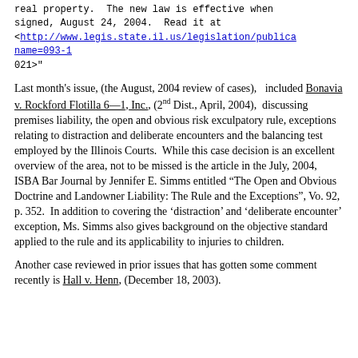real property.  The new law is effective when signed, August 24, 2004.  Read it at <http://www.legis.state.il.us/legislation/publicaname=093-1
021>"
Last month's issue, (the August, 2004 review of cases),  included Bonavia v. Rockford Flotilla 6—1, Inc., (2nd Dist., April, 2004),  discussing premises liability, the open and obvious risk exculpatory rule, exceptions relating to distraction and deliberate encounters and the balancing test employed by the Illinois Courts.  While this case decision is an excellent overview of the area, not to be missed is the article in the July, 2004,  ISBA Bar Journal by Jennifer E. Simms entitled “The Open and Obvious Doctrine and Landowner Liability: The Rule and the Exceptions”, Vo. 92, p. 352.  In addition to covering the ‘distraction’ and ‘deliberate encounter’ exception, Ms. Simms also gives background on the objective standard applied to the rule and its applicability to injuries to children.
Another case reviewed in prior issues that has gotten some comment recently is Hall v. Henn, (December 18, 2003).